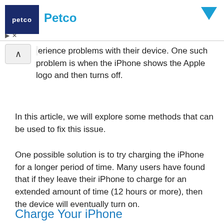[Figure (screenshot): Petco advertisement banner with dark blue logo square showing 'petco' text in white, Petco name in blue, and a blue arrow/chevron icon on the right. Small ad controls (play and X buttons) at bottom left.]
erience problems with their device. One such problem is when the iPhone shows the Apple logo and then turns off.
In this article, we will explore some methods that can be used to fix this issue.
One possible solution is to try charging the iPhone for a longer period of time. Many users have found that if they leave their iPhone to charge for an extended amount of time (12 hours or more), then the device will eventually turn on.
Charge Your iPhone